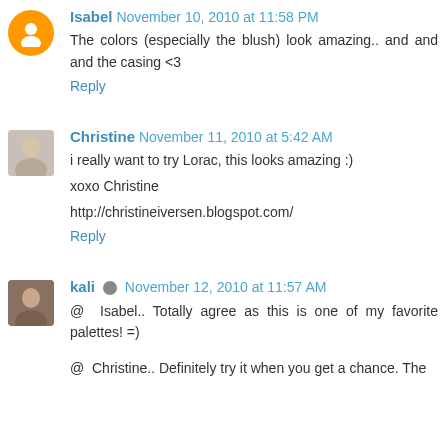Isabel November 10, 2010 at 11:58 PM
The colors (especially the blush) look amazing.. and and and the casing <3
Reply
Christine November 11, 2010 at 5:42 AM
i really want to try Lorac, this looks amazing :)
xoxo Christine
http://christineiversen.blogspot.com/
Reply
kali November 12, 2010 at 11:57 AM
@ Isabel.. Totally agree as this is one of my favorite palettes! =)
@ Christine.. Definitely try it when you get a chance. The